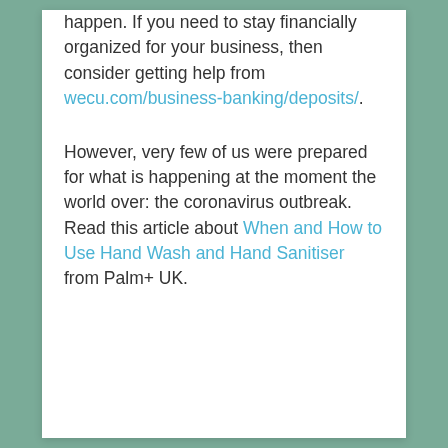happen. If you need to stay financially organized for your business, then consider getting help from wecu.com/business-banking/deposits/.
However, very few of us were prepared for what is happening at the moment the world over: the coronavirus outbreak. Read this article about When and How to Use Hand Wash and Hand Sanitiser from Palm+ UK.